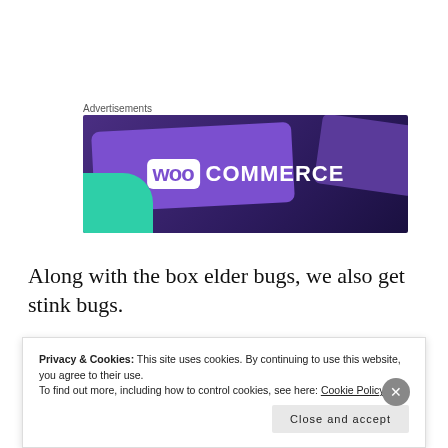Advertisements
[Figure (illustration): WooCommerce advertisement banner with purple gradient background, teal accent in lower left, and WooCommerce logo with white text on purple card]
Along with the box elder bugs, we also get stink bugs.
[Figure (photo): Partial image strip showing green and yellow tones, partially visible insect photo]
Privacy & Cookies: This site uses cookies. By continuing to use this website, you agree to their use. To find out more, including how to control cookies, see here: Cookie Policy
Close and accept